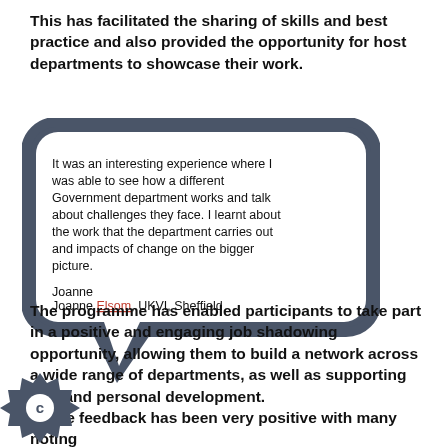This has facilitated the sharing of skills and best practice and also provided the opportunity for host departments to showcase their work.
[Figure (illustration): A speech bubble graphic containing a quote from Joanne Elsom, UKVI, Sheffield. The quote reads: 'It was an interesting experience where I was able to see how a different Government department works and talk about challenges they face. I learnt about the work that the department carries out and impacts of change on the bigger picture.' Attribution: Joanne Elsom, UKVI, Sheffield]
The programme has enabled participants to take part in a positive and engaging job shadowing opportunity, allowing them to build a network across a wide range of departments, as well as supporting skill and personal development. The feedback has been very positive with many noting the programme has allowed them to experience the...